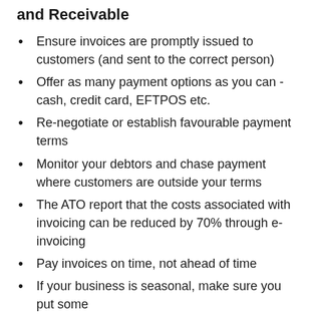and Receivable
Ensure invoices are promptly issued to customers (and sent to the correct person)
Offer as many payment options as you can - cash, credit card, EFTPOS etc.
Re-negotiate or establish favourable payment terms
Monitor your debtors and chase payment where customers are outside your terms
The ATO report that the costs associated with invoicing can be reduced by 70% through e-invoicing
Pay invoices on time, not ahead of time
If your business is seasonal, make sure you put some